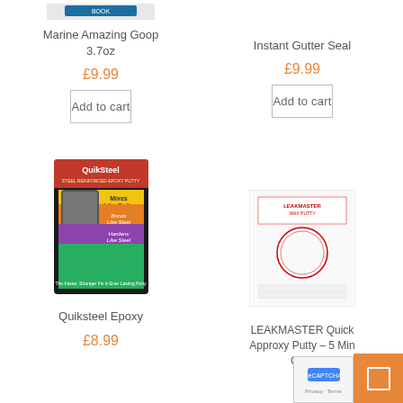[Figure (photo): Marine Amazing Goop 3.7oz product image (partially visible at top)]
Marine Amazing Goop 3.7oz
£9.99
Add to cart
Instant Gutter Seal
£9.99
Add to cart
[Figure (photo): QuikSteel epoxy putty product package — dark packaging with yellow and colored stripe sections, tube visible]
Quiksteel Epoxy
£8.99
[Figure (photo): LEAKMASTER Quick Approxy Putty product box — white box with red text and circular logo]
LEAKMASTER Quick Approxy Putty – 5 Min Cure